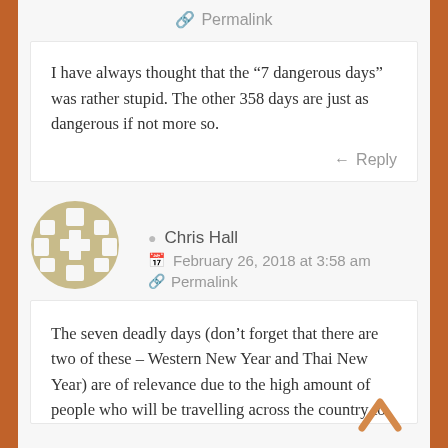🔗 Permalink
I have always thought that the “7 dangerous days” was rather stupid. The other 358 days are just as dangerous if not more so.
← Reply
[Figure (illustration): Circular avatar icon with tan/khaki color and abstract cross/window pattern]
Chris Hall
February 26, 2018 at 3:58 am
🔗 Permalink
The seven deadly days (don’t forget that there are two of these – Western New Year and Thai New Year) are of relevance due to the high amount of people who will be travelling across the country to